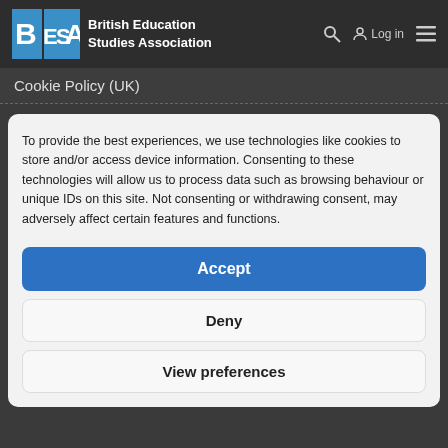[Figure (logo): BESA logo with blue squares and white letters B, E, S, A]
British Education Studies Association
Cookie Policy (UK)
To provide the best experiences, we use technologies like cookies to store and/or access device information. Consenting to these technologies will allow us to process data such as browsing behaviour or unique IDs on this site. Not consenting or withdrawing consent, may adversely affect certain features and functions.
Accept
Deny
View preferences